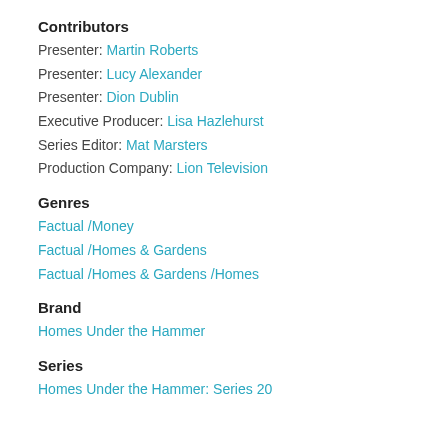Contributors
Presenter: Martin Roberts
Presenter: Lucy Alexander
Presenter: Dion Dublin
Executive Producer: Lisa Hazlehurst
Series Editor: Mat Marsters
Production Company: Lion Television
Genres
Factual /Money
Factual /Homes & Gardens
Factual /Homes & Gardens /Homes
Brand
Homes Under the Hammer
Series
Homes Under the Hammer: Series 20